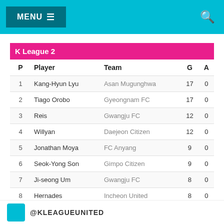MENU ☰
| P | Player | Team | G | A |
| --- | --- | --- | --- | --- |
| 1 | Kang-Hyun Lyu | Asan Mugunghwa | 17 | 0 |
| 2 | Tiago Orobo | Gyeongnam FC | 17 | 0 |
| 3 | Reis | Gwangju FC | 12 | 0 |
| 4 | Willyan | Daejeon Citizen | 12 | 0 |
| 5 | Jonathan Moya | FC Anyang | 9 | 0 |
| 6 | Seok-Yong Son | Gimpo Citizen | 9 | 0 |
| 7 | Ji-seong Um | Gwangju FC | 8 | 0 |
| 8 | Hernades | Incheon United | 8 | 0 |
| 9 | Min-Ho Yun | Gimpo Citizen | 8 | 0 |
| 10 | Andrigo | FC Anyang | 7 | 0 |
@KLEAGUEUNITED